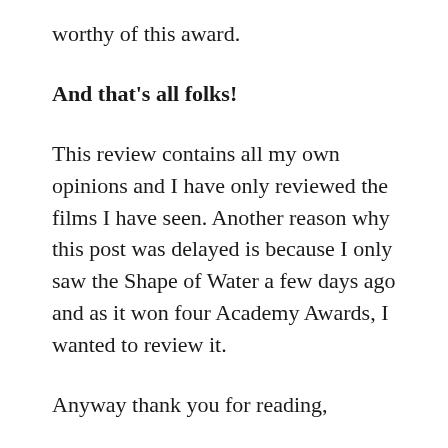worthy of this award.
And that's all folks!
This review contains all my own opinions and I have only reviewed the films I have seen. Another reason why this post was delayed is because I only saw the Shape of Water a few days ago and as it won four Academy Awards, I wanted to review it.
Anyway thank you for reading,
Happy Watching
Robyn 🙂